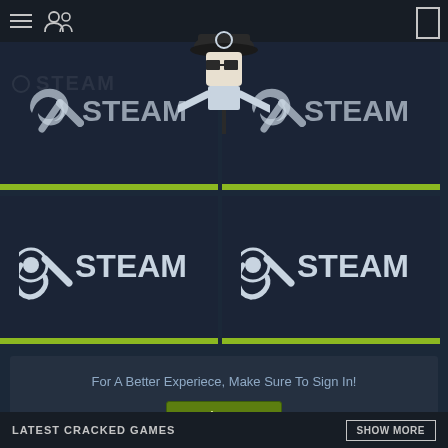[Figure (screenshot): Steam Cracked mobile app interface showing navigation bar with hamburger menu and people icon, four dark panels with Steam logos arranged in a 2x2 grid with green accent bars, a central mascot character overlay, a sign-in prompt box with Sign In button, and a bottom bar showing LATEST CRACKED GAMES and SHOW MORE button.]
For A Better Experiece, Make Sure To Sign In!
Sign In
Or sign up and join Steam Cracked for free
LATEST CRACKED GAMES
SHOW MORE